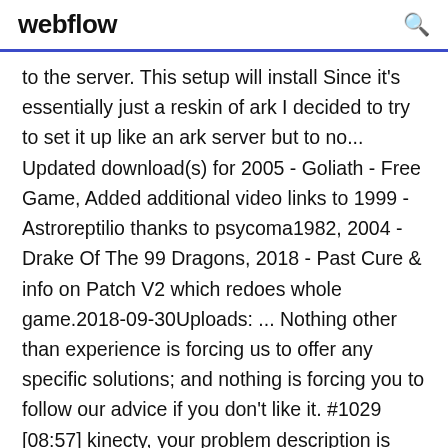webflow
to the server. This setup will install Since it's essentially just a reskin of ark I decided to try to set it up like an ark server but to no... Updated download(s) for 2005 - Goliath - Free Game, Added additional video links to 1999 - Astroreptilio thanks to psycoma1982, 2004 - Drake Of The 99 Dragons, 2018 - Past Cure & info on Patch V2 which redoes whole game.2018-09-30Uploads: ... Nothing other than experience is forcing us to offer any specific solutions; and nothing is forcing you to follow our advice if you don't like it. #1029 [08:57] kinecty, your problem description is very vague #1030 [08:57] * JJ... Rock God Tycoon Free Download Full Version RG Mechanics Repack